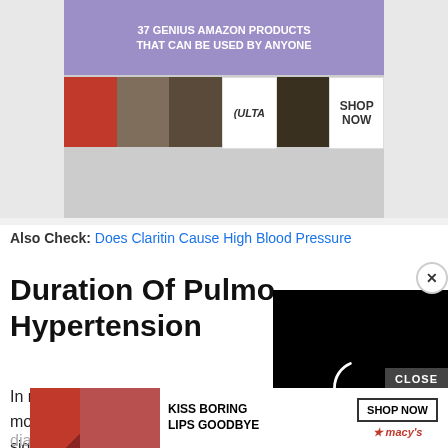[Figure (screenshot): Top advertisement banners: '37 Genius Amazon Products That Can Be Used By Anyone' and Ulta Beauty 'Shop Now' banner]
Also Check:  Does Claritin Cause High Blood Pressure
Duration Of Pulmonary Hypertension
[Figure (screenshot): Video player overlay with loading spinner (dark circle arc) on black background, with X close button]
In many people, pulmonary hypertension develops over months or years. This can happen even without causing significant symptoms, so that by the time the condition is diagno
[Figure (screenshot): Bottom advertisement: 'Kiss Boring Lips Goodbye' Macy's 'Shop Now' banner with woman's face]